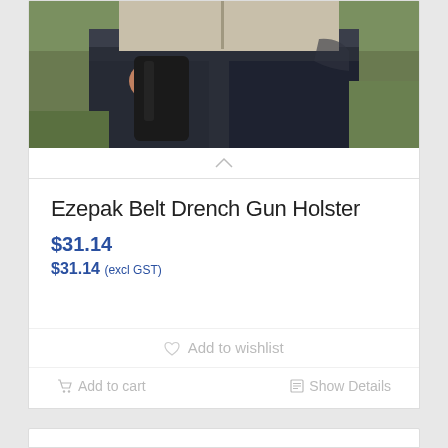[Figure (photo): Product photo showing a person wearing jeans and a beige hoodie, holding a black gun holster at the hip, with green grass in the background.]
Ezepak Belt Drench Gun Holster
$31.14
$31.14 (excl GST)
Add to wishlist
Add to cart
Show Details